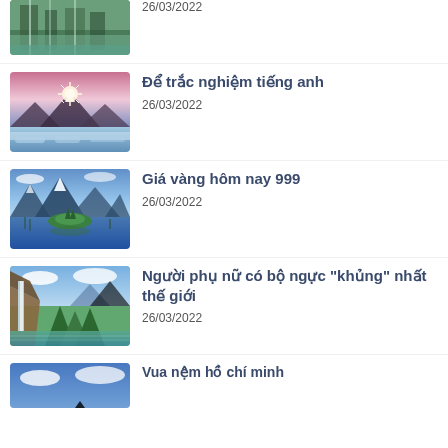[Figure (photo): Partial article thumbnail showing waterfall/cliffs landscape, cropped at top]
26/03/2022
[Figure (photo): Thumbnail showing sunrise/sunset over mountain lake with pink sky and starlight]
Để trắc nghiệm tiếng anh
26/03/2022
[Figure (photo): Thumbnail showing blue mountain lake landscape with island and reflections]
Giá vàng hôm nay 999
26/03/2022
[Figure (photo): Thumbnail showing green forest waterfall and mountains landscape]
Người phụ nữ có bộ ngực "khủng" nhất thế giới
26/03/2022
[Figure (photo): Partial thumbnail showing blue sky landscape, cropped at bottom]
Vua nệm hồ chí minh